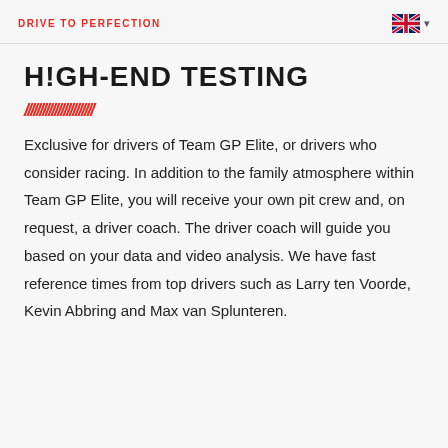DRIVE TO PERFECTION
HIGH-END TESTING
Exclusive for drivers of Team GP Elite, or drivers who consider racing. In addition to the family atmosphere within Team GP Elite, you will receive your own pit crew and, on request, a driver coach. The driver coach will guide you based on your data and video analysis. We have fast reference times from top drivers such as Larry ten Voorde, Kevin Abbring and Max van Splunteren.